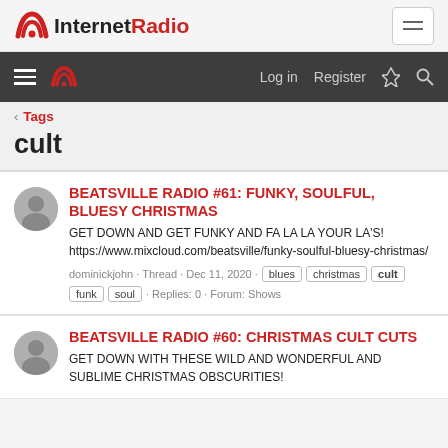InternetRadio
Log in  Register
< Tags
cult
BEATSVILLE RADIO #61: FUNKY, SOULFUL, BLUESY CHRISTMAS
GET DOWN AND GET FUNKY AND FA LA LA YOUR LA'S! https://www.mixcloud.com/beatsville/funky-soulful-bluesy-christmas/
dominickjohn · Thread · Dec 11, 2020 · blues christmas cult funk soul · Replies: 0 · Forum: Shows
BEATSVILLE RADIO #60: CHRISTMAS CULT CUTS
GET DOWN WITH THESE WILD AND WONDERFUL AND SUBLIME CHRISTMAS OBSCURITIES!